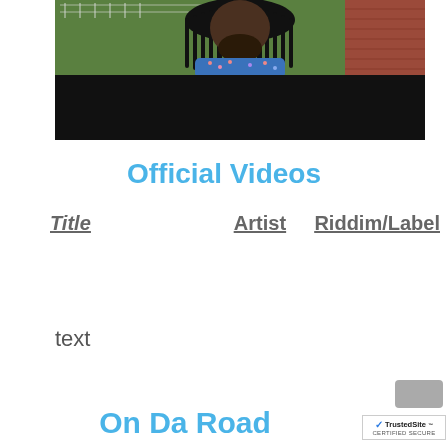[Figure (photo): Photo of a person with long dreadlocks wearing a blue floral shirt, with a green background (grass/yard) and brick wall. Lower half of image is blacked out.]
Official Videos
| Title | Artist | Riddim/Label |
| --- | --- | --- |
text
On Da Road